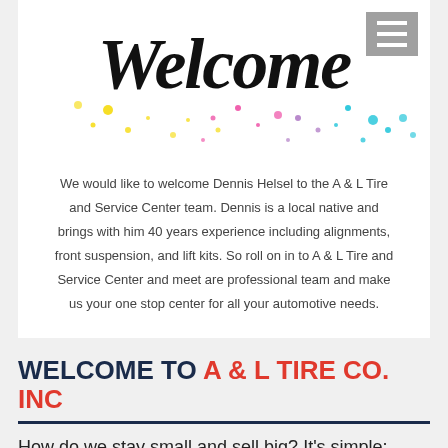[Figure (illustration): Decorative 'Welcome' handwritten script with colorful paint splatter dots in yellow, pink, purple, and blue on a white background. A gray hamburger menu icon is in the top right corner.]
We would like to welcome Dennis Helsel to the A & L Tire and Service Center team. Dennis is a local native and brings with him 40 years experience including alignments, front suspension, and lift kits. So roll on in to A & L Tire and Service Center and meet are professional team and make us your one stop center for all your automotive needs.
WELCOME TO A & L TIRE CO. INC
How do we stay small and sell big? It's simple: years of experience. At A & L Tire Co., Inc. our mission is to offer you the most up-to-date, valuable parts and products at the best prices,